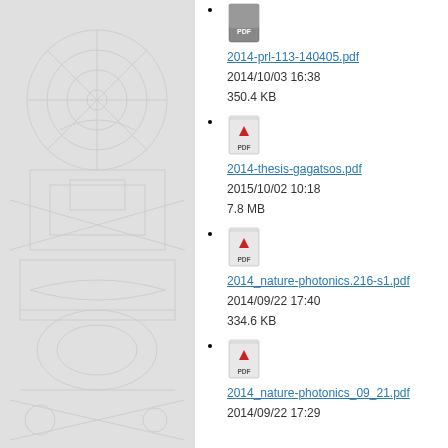[Figure (illustration): Light gray decorative background illustration with technical/engineering line drawings on the left panel]
2014-prl-113-140405.pdf
2014/10/03 16:38
350.4 KB
2014-thesis-gagatsos.pdf
2015/10/02 10:18
7.8 MB
2014_nature-photonics.216-s1.pdf
2014/09/22 17:40
334.6 KB
2014_nature-photonics_09_21.pdf
2014/09/22 17:29